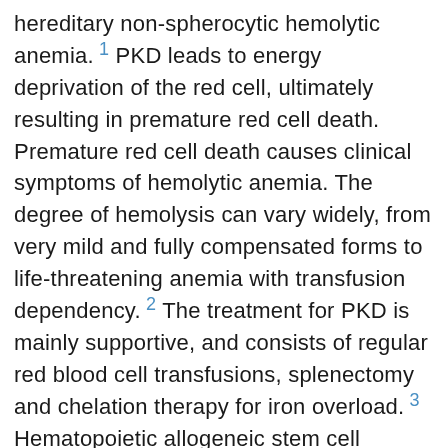hereditary non-spherocytic hemolytic anemia. 1 PKD leads to energy deprivation of the red cell, ultimately resulting in premature red cell death. Premature red cell death causes clinical symptoms of hemolytic anemia. The degree of hemolysis can vary widely, from very mild and fully compensated forms to life-threatening anemia with transfusion dependency. 2 The treatment for PKD is mainly supportive, and consists of regular red blood cell transfusions, splenectomy and chelation therapy for iron overload. 3 Hematopoietic allogeneic stem cell transplantation (HSCT) has the potential to cure PKD. However, there is little experience of applying HSCT in PKD. The current knowledge of HSCT in PKD is predominantly based on animal studies, and guidelines are not available. 5 4 To date, only four human cases of HSCT have been published in the literature. 8 6 The total number of cases